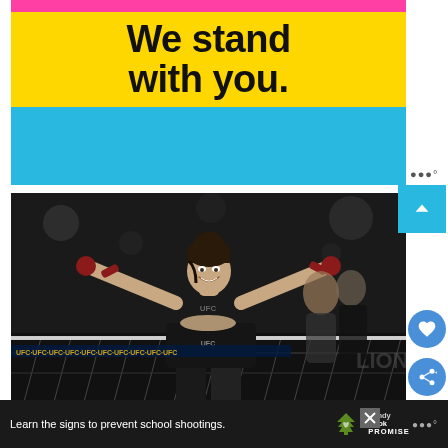[Figure (infographic): Advertisement banner with pink top stripe, yellow background with bold black text 'We stand with you.' and cyan/blue bottom section]
[Figure (photo): UFC female fighter celebrating victory with arms outstretched in the octagon, wearing UFC branded sports attire with red wrist wraps, crowd and referee visible in background]
[Figure (infographic): Sandy Hook Promise advertisement on dark background with text 'Learn the signs to prevent school shootings.' with green tree logo and 'Sandy Hook Promise' branding]